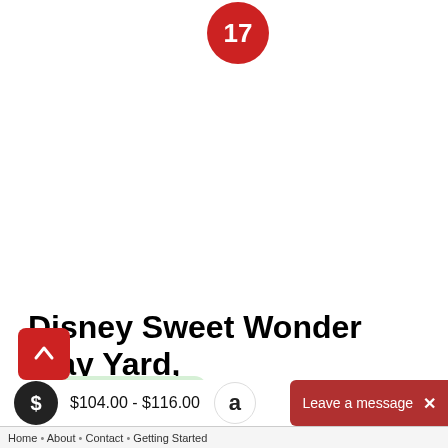[Figure (other): Red circular badge with white number 17 centered inside]
Disney Sweet Wonder Play Yard, Garden Delight Minnie
3 people added this
$104.00 - $116.00
[Figure (logo): Amazon logo circle button]
Leave a message
Home • About • Contact • Getting Started